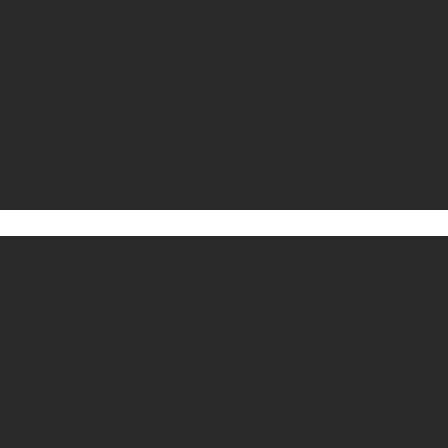https://www.brightonco.gov/
[Figure (screenshot): Search bar with magnifying glass icon and placeholder text 'Search...']
Recent Posts
Denver Is The City For Foodies